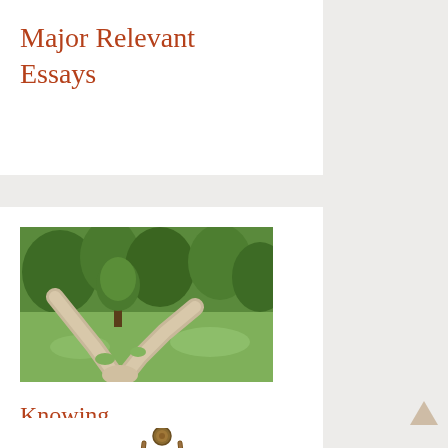Major Relevant Essays
[Figure (photo): A forked path in a wooded park with green trees and grass, representing a decision point or crossroads.]
Knowing What’s Right to do Is Not a No-Brainer
[Figure (photo): A decorative door knocker, partially visible at the bottom of the page.]